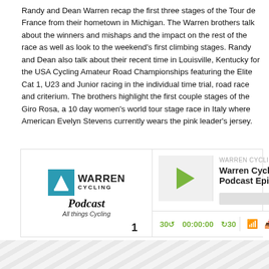Randy and Dean Warren recap the first three stages of the Tour de France from their hometown in Michigan.  The Warren brothers talk about the winners and mishaps and the impact on the rest of the race as well as look to the weekend's first climbing stages. Randy and Dean also talk about their recent time in Louisville, Kentucky for the USA Cycling Amateur Road Championships featuring the Elite Cat 1, U23 and Junior racing in the individual time trial, road race and criterium.  The brothers highlight the first couple stages of the Giro Rosa, a 10 day women's world tour stage race in Italy where American Evelyn Stevens currently wears the pink leader's jersey.
[Figure (screenshot): Warren Cycling Podcast player widget showing logo, play button, episode title 'Warren Cycling Podcast Episode 20', progress bar, and playback controls.]
Download this Episode
1